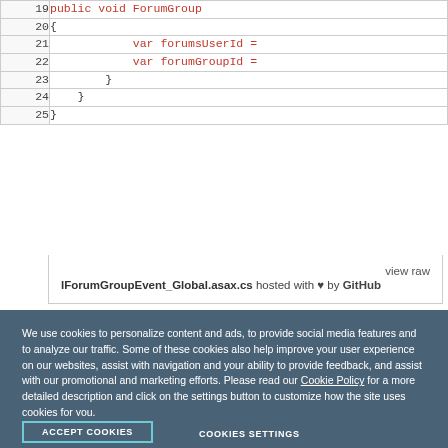[Figure (screenshot): Code snippet showing lines 19-25 of a C# file with syntax highlighting. Lines show public void ForumGroup method, var forumsUserId and var forumGroupId assignments, closing braces.]
view raw IForumGroupEvent_Global.asax.cs hosted with ♥ by GitHub
We use cookies to personalize content and ads, to provide social media features and to analyze our traffic. Some of these cookies also help improve your user experience on our websites, assist with navigation and your ability to provide feedback, and assist with our promotional and marketing efforts. Please read our Cookie Policy for a more detailed description and click on the settings button to customize how the site uses cookies for you.
ACCEPT COOKIES
COOKIES SETTINGS